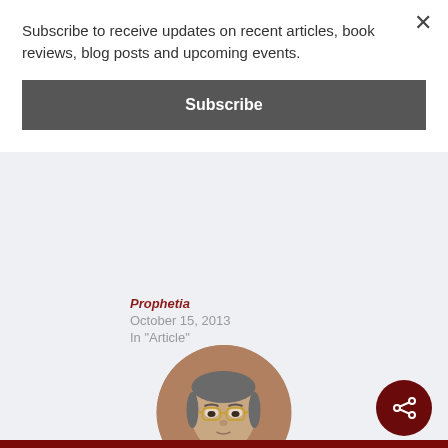Subscribe to receive updates on recent articles, book reviews, blog posts and upcoming events.
Subscribe
Prophetia
October 15, 2013
In "Article"
[Figure (photo): Circular portrait photo of P. C. Kemeny, a man with glasses and grey hair wearing a suit]
P. C. Kemeny
Grove City College
Biblical and Religious Studies, Grove City